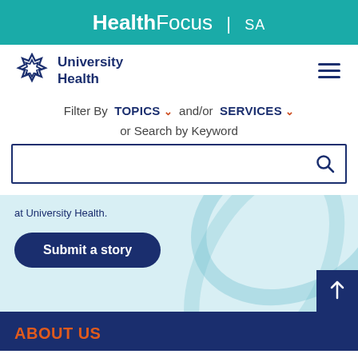HealthFocus | SA
[Figure (logo): University Health logo with geometric star/snowflake icon and text 'University Health']
Filter By TOPICS and/or SERVICES
or Search by Keyword
at University Health.
Submit a story
ABOUT US